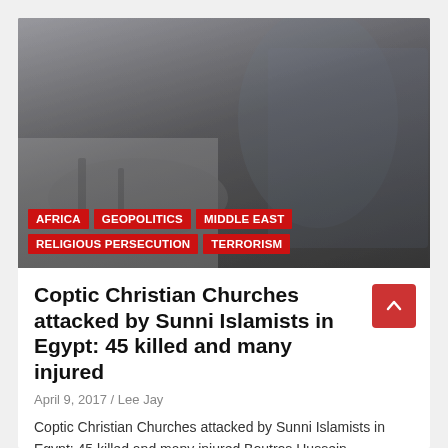[Figure (photo): Blurry/video-still image of a scene on a floor, someone in a plaid/checkered shirt visible, appearing to be an emergency or aftermath scene. Color-graded still with tag labels overlaid at the bottom.]
AFRICA
GEOPOLITICS
MIDDLE EAST
RELIGIOUS PERSECUTION
TERRORISM
Coptic Christian Churches attacked by Sunni Islamists in Egypt: 45 killed and many injured
April 9, 2017 / Lee Jay
Coptic Christian Churches attacked by Sunni Islamists in Egypt: 45 killed and many injured Boutros Hussein,…